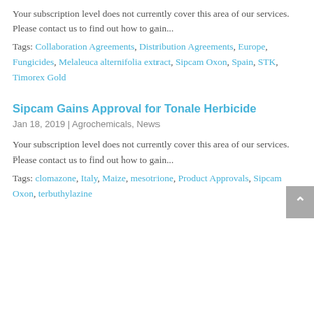Your subscription level does not currently cover this area of our services.  Please contact us to find out how to gain...
Tags: Collaboration Agreements, Distribution Agreements, Europe, Fungicides, Melaleuca alternifolia extract, Sipcam Oxon, Spain, STK, Timorex Gold
Sipcam Gains Approval for Tonale Herbicide
Jan 18, 2019 | Agrochemicals, News
Your subscription level does not currently cover this area of our services.  Please contact us to find out how to gain...
Tags: clomazone, Italy, Maize, mesotrione, Product Approvals, Sipcam Oxon, terbuthylazine